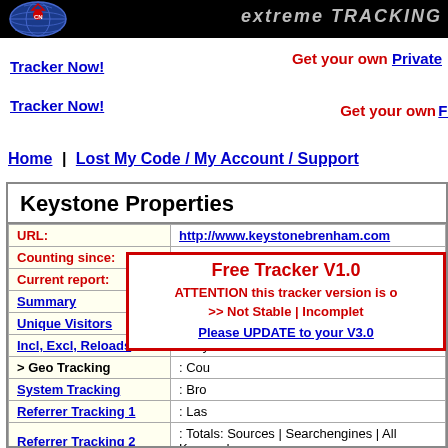Extreme Tracking header with globe logo
Get your own Private Tracker Now!
Get your own Free Tracker Now!
Home | Lost My Code / My Account / Support
Keystone Properties
| Property | Value |
| --- | --- |
| URL: | http://www.keystonebrenham.com |
| Counting since: | 20 June 2000 /◆ 01:16 |
| Current report: | 28 Aug 2022  /  10:13 |
| Summary | : Totals and Averages |
| Unique Visitors | : Day... |
| Incl, Excl, Reloads | : Day... |
| > Geo Tracking | : Cou... |
| System Tracking | : Bro... |
| Referrer Tracking 1 | : Las... |
| Referrer Tracking 2 | : Totals: Sources | Searchengines | All Keywords |
Free Tracker V1.0 — ATTENTION this tracker version is >> Not Stable | Incomplete — Please UPDATE to your V3.0